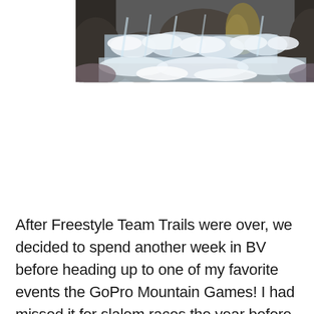[Figure (photo): A rushing waterfall or rapid flowing over and between large dark rocks, with white foamy water and rocky terrain visible. The water cascades down with force.]
After Freestyle Team Trails were over, we decided to spend another week in BV before heading up to one of my favorite events the GoPro Mountain Games! I had missed it for slalom races the year before so I was super excited to be back and get more creeking time on the race course, Homestake (a class 5 section near the Vail Valley that we race on every year!). We headed up Monday and got some laps in at super low water. We then spent the night